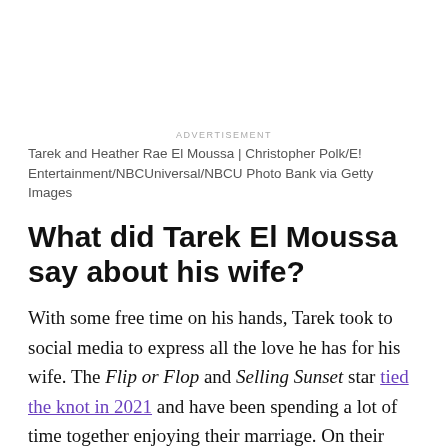ADVERTISEMENT
Tarek and Heather Rae El Moussa | Christopher Polk/E! Entertainment/NBCUniversal/NBCU Photo Bank via Getty Images
What did Tarek El Moussa say about his wife?
With some free time on his hands, Tarek took to social media to express all the love he has for his wife. The Flip or Flop and Selling Sunset star tied the knot in 2021 and have been spending a lot of time together enjoying their marriage. On their way to a getaway in Cabo